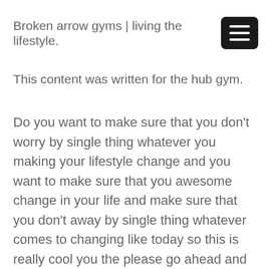Broken arrow gyms | living the lifestyle.
This content was written for the hub gym.
Do you want to make sure that you don't worry by single thing whatever you making your lifestyle change and you want to make sure that you awesome change in your life and make sure that you don't away by single thing whatever comes to changing like today so this is really cool you the please go ahead and check our companies us you can because we definitely want to make sure that we can help you with an amazing service today. Here at the hub gym we want